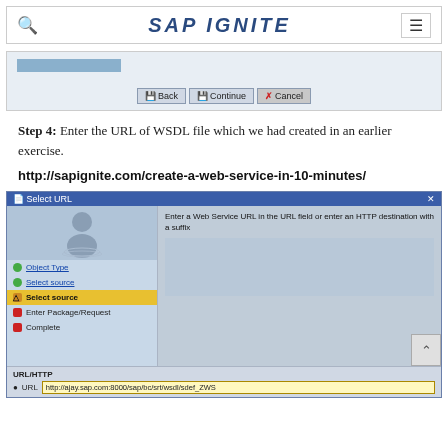SAP IGNITE
[Figure (screenshot): SAP wizard dialog showing Back, Continue, Cancel buttons and a blue progress bar]
Step 4: Enter the URL of WSDL file which we had created in an earlier exercise.
http://sapignite.com/create-a-web-service-in-10-minutes/
[Figure (screenshot): SAP Select URL dialog showing navigation tree with Object Type, Select source (active), Enter Package/Request, Complete steps, and URL/HTTP field with http://ajay.sap.com:8000/sap/bc/srt/wsdl/sdef_ZWS]